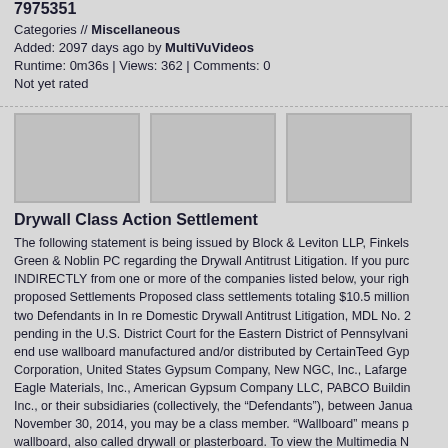7975351
Categories // Miscellaneous
Added: 2097 days ago by MultiVuVideos
Runtime: 0m36s | Views: 362 | Comments: 0
Not yet rated
[Figure (photo): Three placeholder video thumbnail images side by side]
Drywall Class Action Settlement
The following statement is being issued by Block & Leviton LLP, Finkels Green & Noblin PC regarding the Drywall Antitrust Litigation. If you purc INDIRECTLY from one or more of the companies listed below, your righ proposed Settlements Proposed class settlements totaling $10.5 million two Defendants in In re Domestic Drywall Antitrust Litigation, MDL No. 2 pending in the U.S. District Court for the Eastern District of Pennsylvani end use wallboard manufactured and/or distributed by CertainTeed Gyp Corporation, United States Gypsum Company, New NGC, Inc., Lafarge Eagle Materials, Inc., American Gypsum Company LLC, PABCO Buildin Inc., or their subsidiaries (collectively, the "Defendants"), between Janua November 30, 2014, you may be a class member. "Wallboard" means p wallboard, also called drywall or plasterboard. To view the Multimedia N http://www.multivu.com/players/English/7449651-drywall-class-action-se
Tags // gypsum wallboard plasterboard drywall class action law contractor construction multivu 7449651
Categories // Business